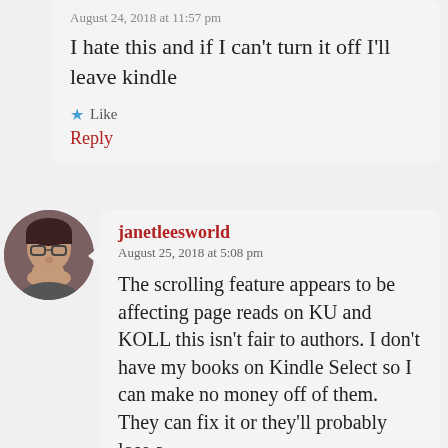August 24, 2018 at 11:57 pm
I hate this and if I can't turn it off I'll leave kindle
★ Like
Reply
[Figure (photo): Round avatar photo of a person with glasses]
janetleesworld
August 25, 2018 at 5:08 pm
The scrolling feature appears to be affecting page reads on KU and KOLL this isn't fair to authors. I don't have my books on Kindle Select so I can make no money off of them. They can fix it or they'll probably lose a